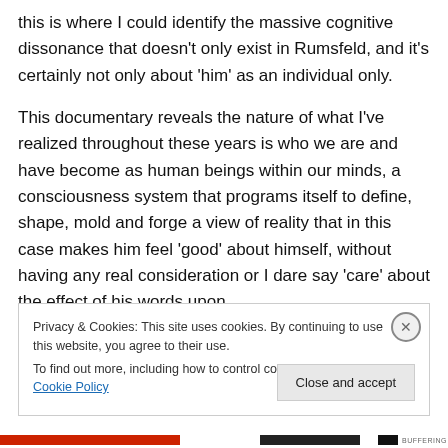this is where I could identify the massive cognitive dissonance that doesn't only exist in Rumsfeld, and it's certainly not only about 'him' as an individual only.
This documentary reveals the nature of what I've realized throughout these years is who we are and have become as human beings within our minds, a consciousness system that programs itself to define, shape, mold and forge a view of reality that in this case makes him feel 'good' about himself, without having any real consideration or I dare say 'care' about the effect of his words upon
Privacy & Cookies: This site uses cookies. By continuing to use this website, you agree to their use.
To find out more, including how to control cookies, see here: Cookie Policy